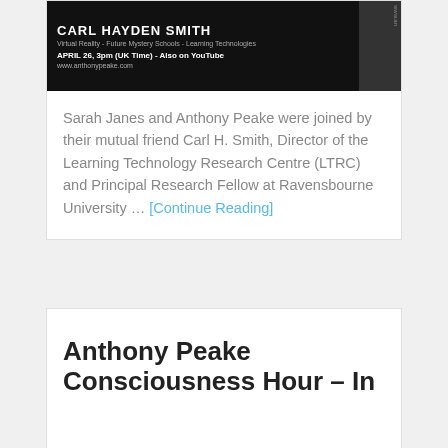[Figure (photo): Dark banner image for Carl Hayden Smith event, showing name, subtitle 'Virtual Reality - Future Mystery Schools - Learning Technologies', date 'APRIL 26, 3pm (UK Time) - Also on YouTube', website www.anthonypeake.com, and a partial portrait photo on the right side]
Sarah Janes and Anthony Peake were joined by their mutual friend Carl H. Smith, Director of the Learning Technology Research Centre (LTRC) and Principal Research Fellow at Ravensbourne University ... [Continue Reading]
Anthony Peake Consciousness Hour – In